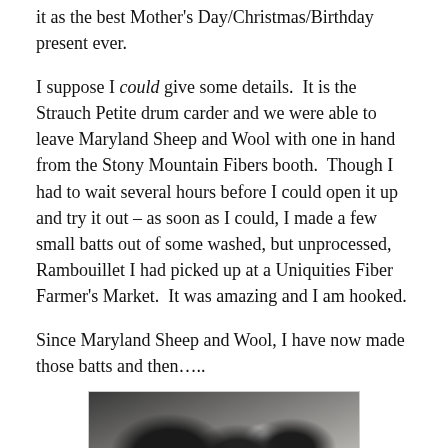it as the best Mother's Day/Christmas/Birthday present ever.
I suppose I could give some details.  It is the Strauch Petite drum carder and we were able to leave Maryland Sheep and Wool with one in hand from the Stony Mountain Fibers booth.  Though I had to wait several hours before I could open it up and try it out – as soon as I could, I made a few small batts out of some washed, but unprocessed, Rambouillet I had picked up at a Uniquities Fiber Farmer's Market.  It was amazing and I am hooked.
Since Maryland Sheep and Wool, I have now made those batts and then…..
[Figure (photo): Photo of dark, curly wool batts or fiber rolls on a light surface, showing black and white/grey fibers coiled together.]